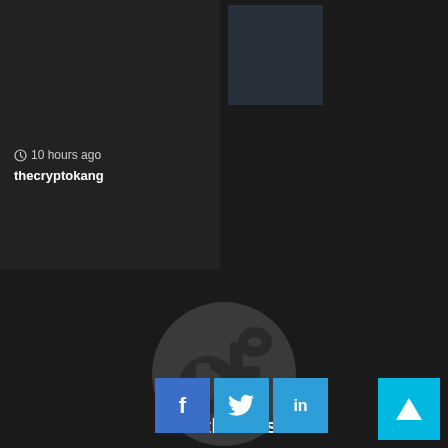Critics 'Shouldn't Really Be Talking About' Globalist Tiny
10 hours ago
thecryptokang
[Figure (logo): AF themes circular logo — dark grey circle with stylized 'af' lettermark in darker grey]
AF themes
[Figure (other): Social share buttons: Facebook (f), Twitter (bird), LinkedIn (in)]
[Figure (other): Back to top button — cyan square with upward chevron arrow]